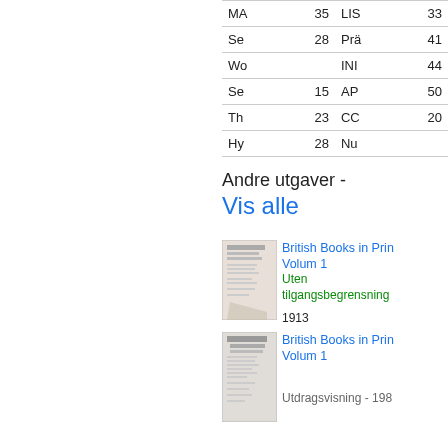| MA | 35 | LIS | 33 |
| Se | 28 | Prä | 41 |
| Wo |  | INI | 44 |
| Se | 15 | AP | 50 |
| Th | 23 | CC | 20 |
| Hy | 28 | Nu |  |
Andre utgaver -
Vis alle
British Books in Print Volum 1
Uten tilgangsbegrensning
1913
British Books in Print Volum 1
Utdragsvisning - 198